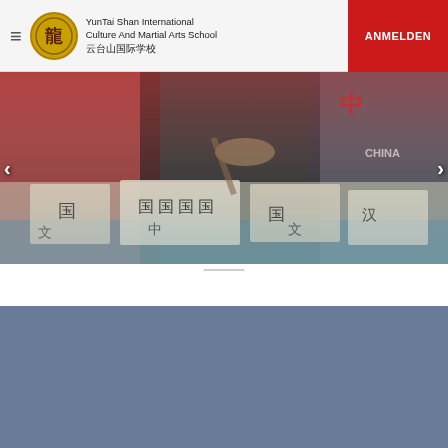YunTai Shan International Culture And Martial Arts School 云台山国际学校 | ANMELDEN
[Figure (photo): Students practicing Chinese calligraphy at a table, wearing winter jackets, with paper sheets showing Chinese characters. Navigation arrows on left and right sides of the slideshow.]
Moritz's travel report
Diese Website benutzt Cookies. Wenn du die Website weiter nutzt, gehen wir von deinem Einverständnis aus. Datenschutzerklärung
EINVERSTANDEN